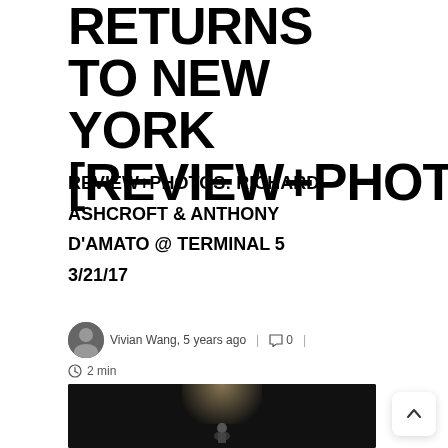RETURNS TO NEW YORK [REVIEW+PHOTOS]
REVIEW+PHOTOS: RICHARD ASHCROFT & ANTHONY D'AMATO @ TERMINAL 5 3/21/17
Vivian Wang, 5 years ago | 0 | 2 min
[Figure (photo): Concert photo showing a performer on stage with dramatic overhead lighting, dark background]